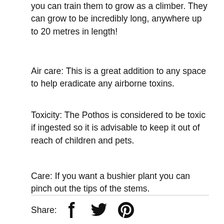you can train them to grow as a climber. They can grow to be incredibly long, anywhere up to 20 metres in length!
Air care: This is a great addition to any space to help eradicate any airborne toxins.
Toxicity: The Pothos is considered to be toxic if ingested so it is advisable to keep it out of reach of children and pets.
Care: If you want a bushier plant you can pinch out the tips of the stems.
Share: